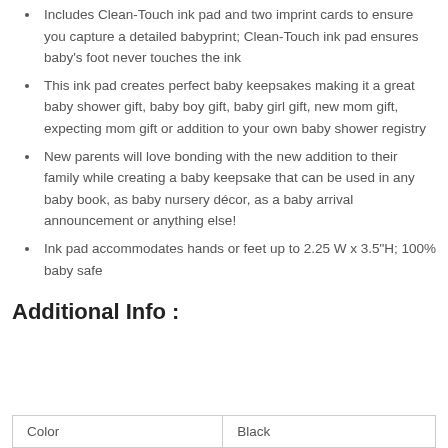Includes Clean-Touch ink pad and two imprint cards to ensure you capture a detailed babyprint; Clean-Touch ink pad ensures baby's foot never touches the ink
This ink pad creates perfect baby keepsakes making it a great baby shower gift, baby boy gift, baby girl gift, new mom gift, expecting mom gift or addition to your own baby shower registry
New parents will love bonding with the new addition to their family while creating a baby keepsake that can be used in any baby book, as baby nursery décor, as a baby arrival announcement or anything else!
Ink pad accommodates hands or feet up to 2.25 W x 3.5"H; 100% baby safe
Additional Info :
| Color | Black |
| --- | --- |